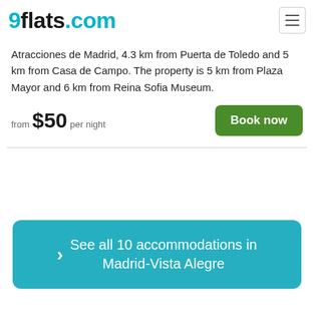9flats.com
Atracciones de Madrid, 4.3 km from Puerta de Toledo and 5 km from Casa de Campo. The property is 5 km from Plaza Mayor and 6 km from Reina Sofia Museum.
from $50 per night
Book now
> See all 10 accommodations in Madrid-Vista Alegre